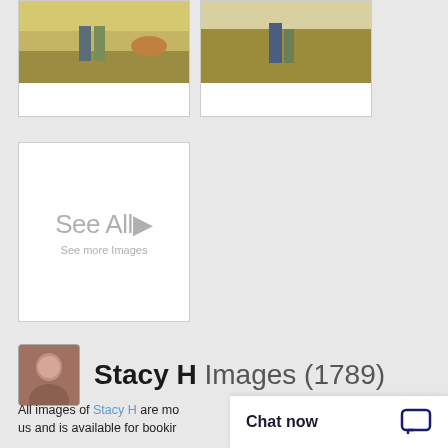[Figure (photo): Two people walking in a farm field holding hands, cattle visible in background]
[Figure (photo): Two people standing in a farm field, one adult and one child]
[Figure (other): See All button card with text 'See All' and arrow, subtitle 'See more Images']
Stacy H Images (1789)
All images of Stacy H are mo... us and is available for bookir...
Chat now